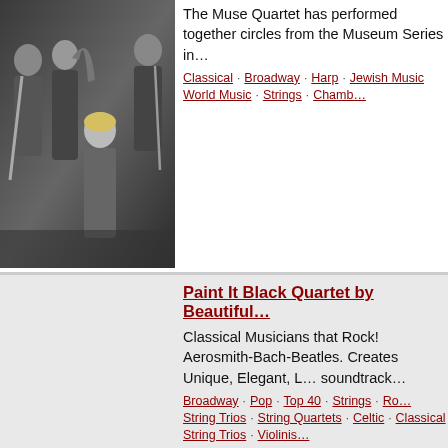[Figure (photo): Group photo of the Muse Quartet musicians holding instruments including violin/viola, harp, and flute]
The Muse Quartet has performed together circles from the Museum Series in…
Classical · Broadway · Harp · Jewish Music · World Music · Strings · Chamb…
Paint It Black Quartet by Beautiful…
Classical Musicians that Rock! Aerosmith-Bach-Beatles. Creates Unique, Elegant, L… soundtrack…
Broadway · Pop · Top 40 · Strings · Ro… · String Trios · String Quartets · Celtic · Classical · String Trios · Violinis…
Strings Etc.
Strings Etc. is the cure for common wedd… course we can perform…
Strings · Chamber Music · Violinists · Harp · Cell… · String Trios · String Qu…